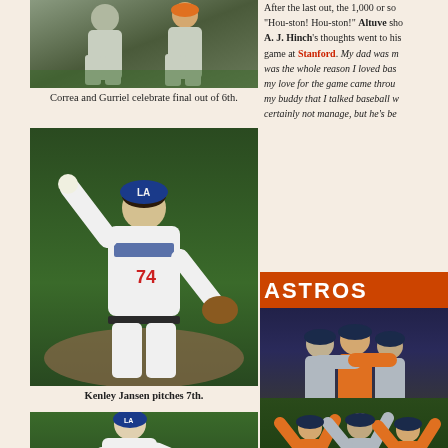[Figure (photo): Correa and Gurriel celebrate final out of 6th inning, players in gray uniforms]
Correa and Gurriel celebrate final out of 6th.
[Figure (photo): Kenley Jansen pitching in Dodgers uniform number 74]
Kenley Jansen pitches 7th.
[Figure (photo): Dodgers pitcher in LA cap throwing pitch]
After the last out, the 1,000 or so "Hou-ston! Hou-ston!" Altuve sho A. J. Hinch's thoughts went to his game at Stanford. My dad was m was the whole reason I loved bas my love for the game came throu my buddy that I talked baseball w certainly not manage, but he's be
[Figure (photo): Houston Astros players celebrating, hugging in group, wearing orange and gray uniforms, Astros banner in background]
[Figure (photo): Astros players celebrating on field]